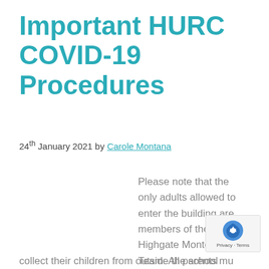Important HURC COVID-19 Procedures
24th January 2021 by Carole Montana
Please note that the only adults allowed to enter the building are members of the Highgate Montessori Team. All parents must drop off and collect their children from outside the school